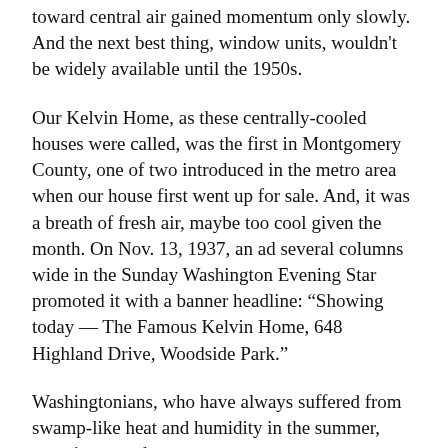toward central air gained momentum only slowly. And the next best thing, window units, wouldn't be widely available until the 1950s.
Our Kelvin Home, as these centrally-cooled houses were called, was the first in Montgomery County, one of two introduced in the metro area when our house first went up for sale. And, it was a breath of fresh air, maybe too cool given the month. On Nov. 13, 1937, an ad several columns wide in the Sunday Washington Evening Star promoted it with a banner headline: “Showing today — The Famous Kelvin Home, 648 Highland Drive, Woodside Park.”
Washingtonians, who have always suffered from swamp-like heat and humidity in the summer, were interested.
The ad copy went on to preach: “If you are